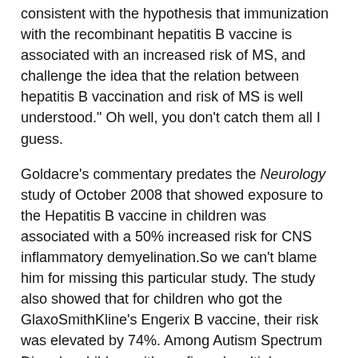consistent with the hypothesis that immunization with the recombinant hepatitis B vaccine is associated with an increased risk of MS, and challenge the idea that the relation between hepatitis B vaccination and risk of MS is well understood." Oh well, you don't catch them all I guess.
Goldacre's commentary predates the Neurology study of October 2008 that showed exposure to the Hepatitis B vaccine in children was associated with a 50% increased risk for CNS inflammatory demyelination.So we can't blame him for missing this particular study. The study also showed that for children who got the GlaxoSmithKline's Engerix B vaccine, their risk was elevated by 74%. Among Autism Spectrum Disorder children with confirmed multiple sclerosis, the risk increased by 177% (read more here). I 'm sure Goldacre's website addendum is in the pipeline, if not I look forward to seeing the study discussed in the next edition of Bad Science.
And how about the thoughts of Dr Mark Girard, commissioned as a medical expert by French courts in the French criminal investigation into the introduction of universal Hepatitis B vaccination in France? This is what he had to say on the matter:
"Whilst the risk factors for babies have changed little, there is now impressive evidence that for a preventive measure